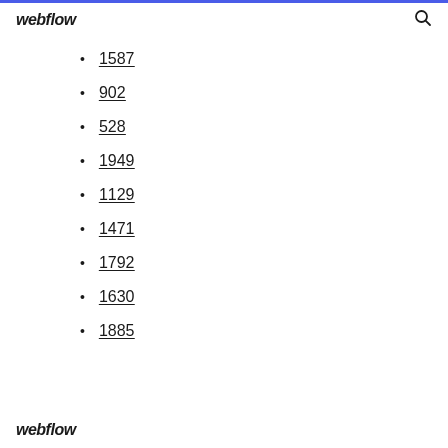webflow
1587
902
528
1949
1129
1471
1792
1630
1885
webflow